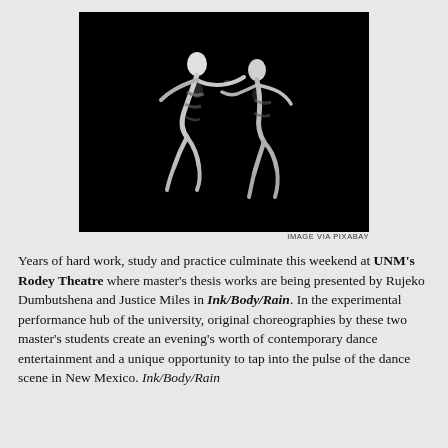[Figure (photo): Two dancers performing in dramatic black and white lighting against a dark background, captured in stylized motion]
IMAGE VIA PIXABAY
Years of hard work, study and practice culminate this weekend at UNM's Rodey Theatre where master's thesis works are being presented by Rujeko Dumbutshena and Justice Miles in Ink/Body/Rain. In the experimental performance hub of the university, original choreographies by these two master's students create an evening's worth of contemporary dance entertainment and a unique opportunity to tap into the pulse of the dance scene in New Mexico. Ink/Body/Rain